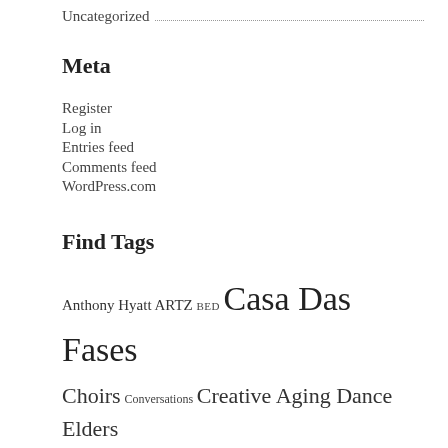Uncategorized
Meta
Register
Log in
Entries feed
Comments feed
WordPress.com
Find Tags
Anthony Hyatt ARTZ BED Casa Das Fases Choirs Conversations Creative Aging Dance Elders Share The Arts EngAGE Entelechy